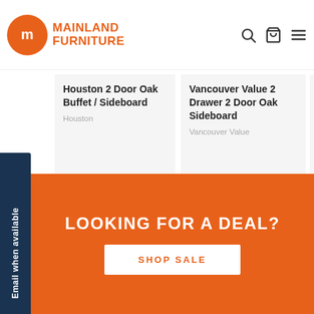[Figure (logo): Mainland Furniture logo with orange circle icon and orange text]
Houston 2 Door Oak Buffet / Sideboard
Houston
$999.00
Vancouver Value 2 Drawer 2 Door Oak Sideboard
Vancouver Value
$799.00
Yes 3 Oak B...
Yes
$1,19...
Email when available
LOOKING FOR A DEAL?
SHOP SALE